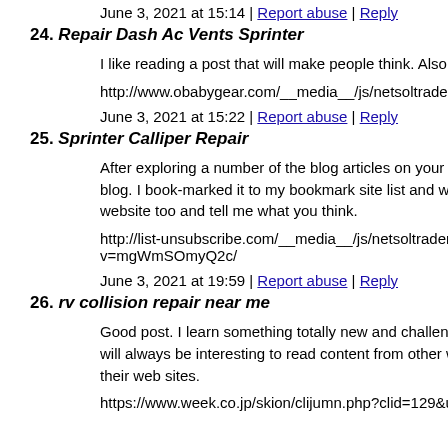June 3, 2021 at 15:14 | Report abuse | Reply
24. Repair Dash Ac Vents Sprinter
I like reading a post that will make people think. Also, many th
http://www.obabygear.com/__media__/js/netsoltrademark.php
June 3, 2021 at 15:22 | Report abuse | Reply
25. Sprinter Calliper Repair
After exploring a number of the blog articles on your site, I rea blog. I book-marked it to my bookmark site list and will be che website too and tell me what you think.
http://list-unsubscribe.com/__media__/js/netsoltrademark.php? v=mgWmSOmyQ2c/
June 3, 2021 at 19:59 | Report abuse | Reply
26. rv collision repair near me
Good post. I learn something totally new and challenging on si will always be interesting to read content from other writers ar their web sites.
https://www.week.co.jp/skion/clijumn.php?clid=129&url=https